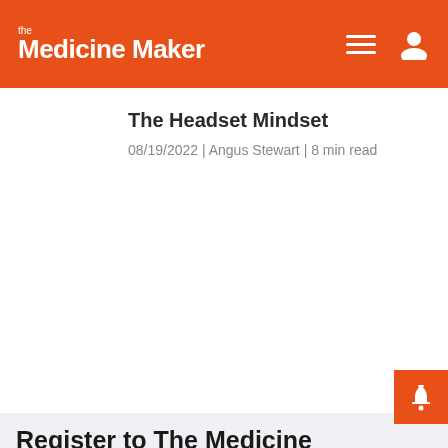the Medicine Maker
The Headset Mindset
08/19/2022 | Angus Stewart | 8 min read
Register to The Medicine Maker
Register to access our FREE online portfolio,
Cookies
Like most websites The Medicine Maker uses cookies. In order to deliver a personalized, responsive service and to improve the site, we remember and store information about how you use it. Learn more.